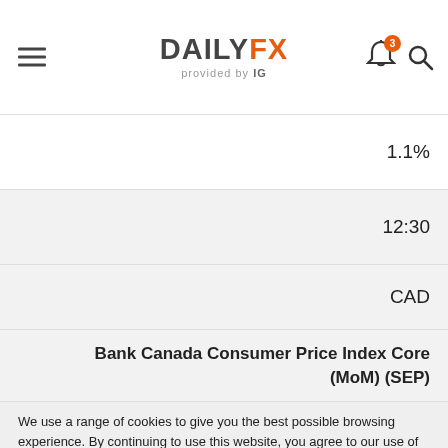[Figure (logo): DailyFX provided by IG logo with hamburger menu, bell notification icon with badge '3', and search icon]
| 1.1% |
| 12:30 |
| CAD |
| Bank Canada Consumer Price Index Core (MoM) (SEP) |
We use a range of cookies to give you the best possible browsing experience. By continuing to use this website, you agree to our use of cookies.
You can learn more about our cookie policy here, or by following the link at the bottom of any page on our site. See our updated Privacy Policy here.
Accept ✓